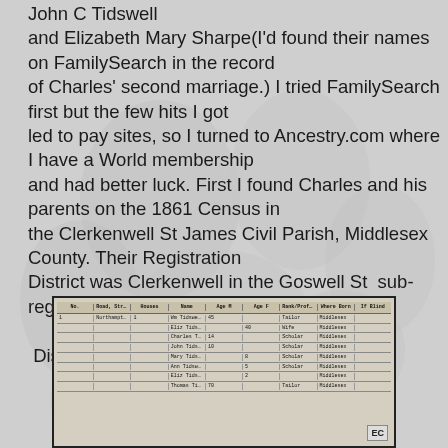John C Tidswell and Elizabeth Mary Sharpe(I'd found their names on FamilySearch in the record of Charles' second marriage.) I tried FamilySearch first but the few hits I got led to pay sites, so I turned to Ancestry.com where I have a World membership and had better luck. First I found Charles and his parents on the 1861 Census in the Clerkenwell St James Civil Parish, Middlesex County. Their Registration District was Clerkenwell in the Goswell St  sub-registration district in Enumeration District 12. The family is listed as follows:
[Figure (photo): Scanned image of an 1861 Census record showing handwritten entries in a tabular format with columns for name, age, occupation, birthplace, and other details. The document appears to be an official census form with multiple rows of handwritten entries.]